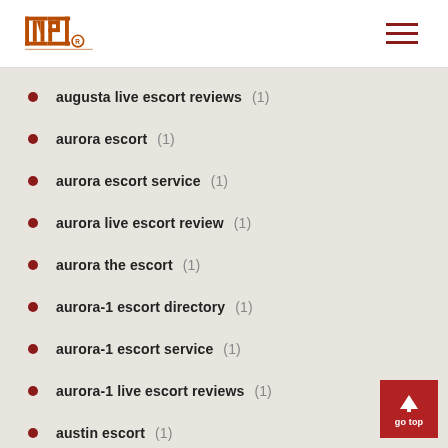INP logo and navigation
augusta live escort reviews (1)
aurora escort (1)
aurora escort service (1)
aurora live escort review (1)
aurora the escort (1)
aurora-1 escort directory (1)
aurora-1 escort service (1)
aurora-1 live escort reviews (1)
austin escort (1)
austin escort near me (1)
austin live escort review (1)